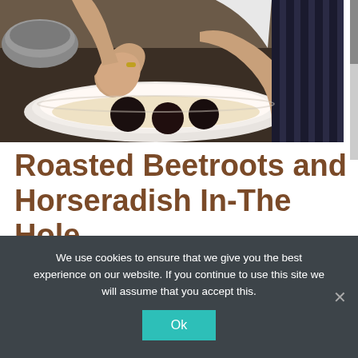[Figure (photo): A chef's hands plating a dish with dark round food items (roasted beetroots) on a white plate with a light-colored sauce, wearing a striped apron.]
Roasted Beetroots and Horseradish In-The Hole
We use cookies to ensure that we give you the best experience on our website. If you continue to use this site we will assume that you accept this.